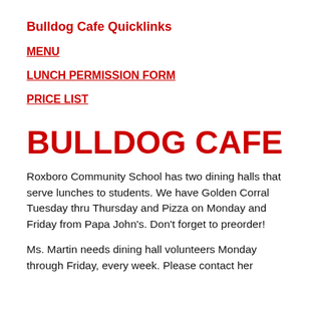Bulldog Cafe Quicklinks
MENU
LUNCH PERMISSION FORM
PRICE LIST
BULLDOG CAFE
Roxboro Community School has two dining halls that serve lunches to students. We have Golden Corral Tuesday thru Thursday and Pizza on Monday and Friday from Papa John's. Don't forget to preorder!
Ms. Martin needs dining hall volunteers Monday through Friday, every week. Please contact her